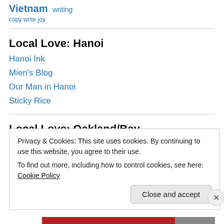Vietnam writing
copy write joy
Local Love: Hanoi
Hanoi Ink
Mien's Blog
Our Man in Hanoi
Sticky Rice
Local Love: Oakland/Bay
Broke-Ass Stuart
Privacy & Cookies: This site uses cookies. By continuing to use this website, you agree to their use.
To find out more, including how to control cookies, see here: Cookie Policy
Close and accept